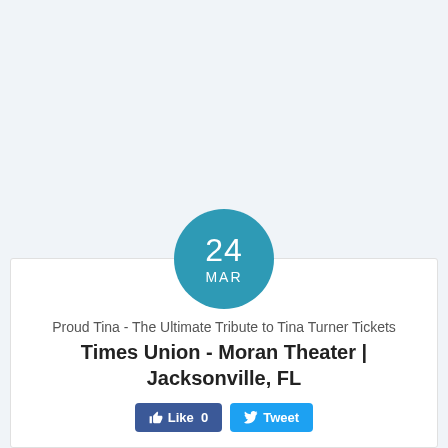[Figure (infographic): Teal circular date badge showing '24 MAR' on a white event card]
Proud Tina - The Ultimate Tribute to Tina Turner Tickets
Times Union - Moran Theater | Jacksonville, FL
Like 0   Tweet